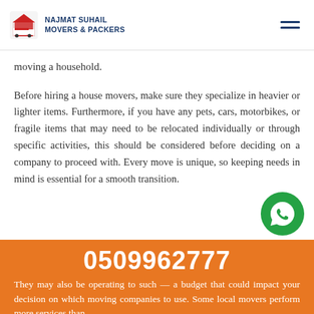NAJMAT SUHAIL MOVERS & PACKERS
moving a household.
Before hiring a house movers, make sure they specialize in heavier or lighter items. Furthermore, if you have any pets, cars, motorbikes, or fragile items that may need to be relocated individually or through specific activities, this should be considered before deciding on a company to proceed with. Every move is unique, so keeping needs in mind is essential for a smooth transition.
They may also be working to such — a budget that could impact your decision on which moving companies to use. Some local movers perform more services than
0509962777